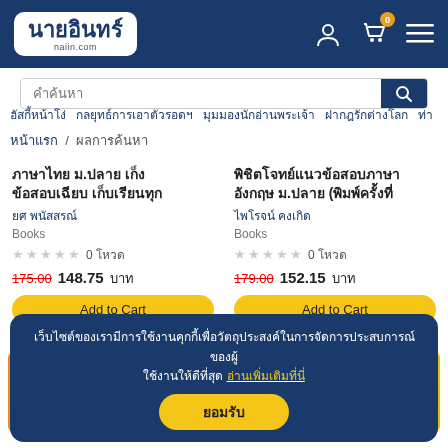[Figure (logo): นายอินทร์ (Naiin.com) bookstore logo in white box on dark blue header]
คำค้นหา
ฮัสกี้หน้าโง่  กลยุทธ์การเอาตัวรอดฯ  มุมมองนักอ่านพระเจ้า  ฝากฎรักต่างโลก  ท่า
หน้าแรก  /  ผลการค้นหา
ภาษาไทย ม.ปลาย เก็งข้อสอบเฉียบ เก็บเรียนทุก
ยศ พนัสสรณ์
Books
0 โหวด
175.00  148.75 บาท
Add to Cart
พิชิตโจทย์แนวข้อสอบภาษาอังกฤษ ม.ปลาย (พิมพ์ครั้งที่
ไพโรจน์ คงเกิด
Books
0 โหวด
179.00  152.15 บาท
Add to Cart
[Figure (photo): Book cover - orange background with Thai text แนวข้อสอบติวเข้ม NT ป.๒]
[Figure (photo): Book cover - yellow background with Thai text แนวข้อสอบ]
เว็บไซต์ของเรามีการใช้งานคุกกี้เพื่อวัตถุประสงค์ในการจัดการประสบการณ์ของผู้ใช้งานให้ดีที่สุด อ่านเพิ่มเติมที่นี่
ยอมรับ